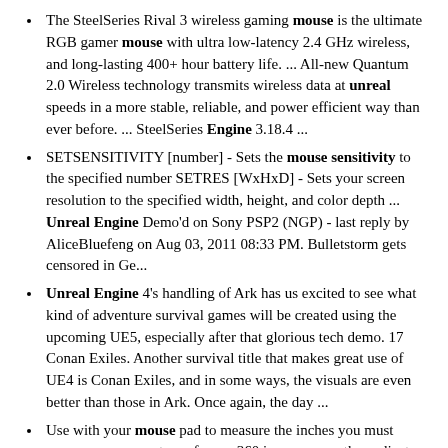The SteelSeries Rival 3 wireless gaming mouse is the ultimate RGB gamer mouse with ultra low-latency 2.4 GHz wireless, and long-lasting 400+ hour battery life. ... All-new Quantum 2.0 Wireless technology transmits wireless data at unreal speeds in a more stable, reliable, and power efficient way than ever before. ... SteelSeries Engine 3.18.4 ...
SETSENSITIVITY [number] - Sets the mouse sensitivity to the specified number SETRES [WxHxD] - Sets your screen resolution to the specified width, height, and color depth ... Unreal Engine Demo'd on Sony PSP2 (NGP) - last reply by AliceBluefeng on Aug 03, 2011 08:33 PM. Bulletstorm gets censored in Ge...
Unreal Engine 4's handling of Ark has us excited to see what kind of adventure survival games will be created using the upcoming UE5, especially after that glorious tech demo. 17 Conan Exiles. Another survival title that makes great use of UE4 is Conan Exiles, and in some ways, the visuals are even better than those in Ark. Once again, the day ...
Use with your mouse pad to measure the inches you must move your mouse to perform a 360 in one game, then adjust sensitivity in the other game till you get it to match. I know nobody likes to spend 5 minutes on something tedious, but it's really not much more difficult, and none of the calculators will be exact; honestly, it's worth checking if ...